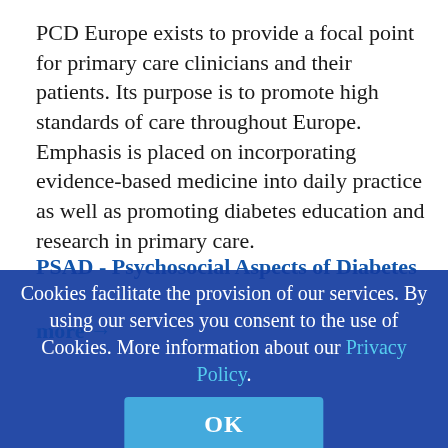PCD Europe exists to provide a focal point for primary care clinicians and their patients. Its purpose is to promote high standards of care throughout Europe. Emphasis is placed on incorporating evidence-based medicine into daily practice as well as promoting diabetes education and research in primary care.
more →
PSAD - Psychosocial Aspects of Diabetes
Cookies facilitate the provision of our services. By using our services you consent to the use of Cookies. More information about our Privacy Policy.
researchers and clinicians in the field of psychosocial aspects of diabetes